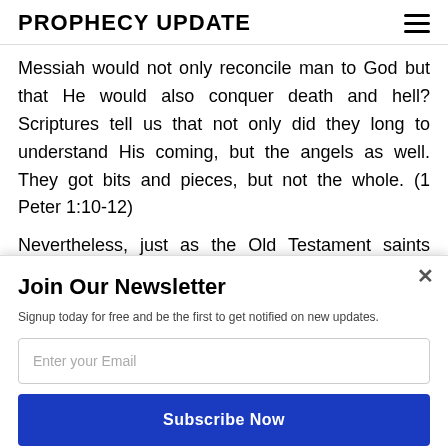PROPHECY UPDATE
Messiah would not only reconcile man to God but that He would also conquer death and hell? Scriptures tell us that not only did they long to understand His coming, but the angels as well. They got bits and pieces, but not the whole. (1 Peter 1:10-12)
Nevertheless, just as the Old Testament saints looked forward to His comir [POWERED BY SUMO] the luxury of looking
Join Our Newsletter
Signup today for free and be the first to get notified on new updates.
Enter your Email
Subscribe Now